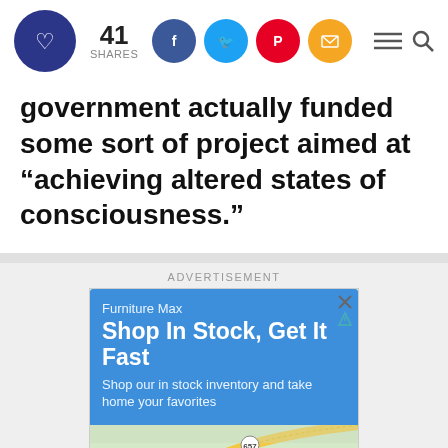41 SHARES [social share icons: Facebook, Twitter, Pinterest, Email] [menu] [search]
government actually funded some sort of project aimed at “achieving altered states of consciousness.”
[Figure (screenshot): Advertisement: Furniture Max - Shop In Stock, Get It Fast. Shop our in stock inventory and take home your favorites. Google Maps showing McNair location with route 657 and Sunrise Valley Dr.]